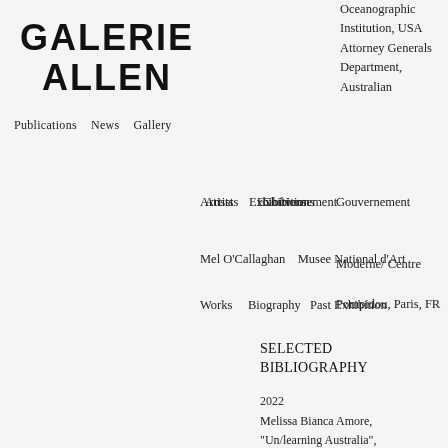GALERIE ALLEN
Publications   News   Gallery
Oceanographic Institution, USA Attorney Generals Department, Australian Government Musee National d'Art Moderne/ Centre Pompidou, Paris, FR
Artists   Exhibitions
Mel O'Callaghan
Works   Biography   Past Exhibition
SELECTED BIBLIOGRAPHY
2022
Melissa Bianca Amore, "Un/learning Australia", The Saturday Paper, February 5-11, 2022 | No. 385 Stephanie Bunbury, "Seeing The Invisible",